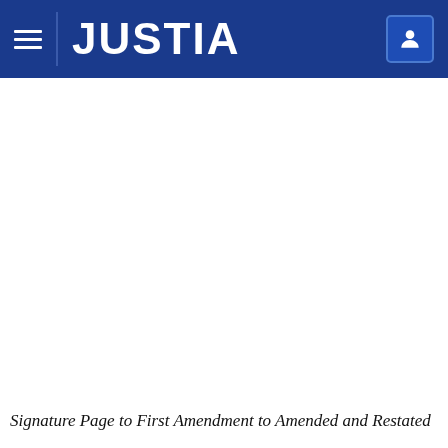JUSTIA
Signature Page to First Amendment to Amended and Restated